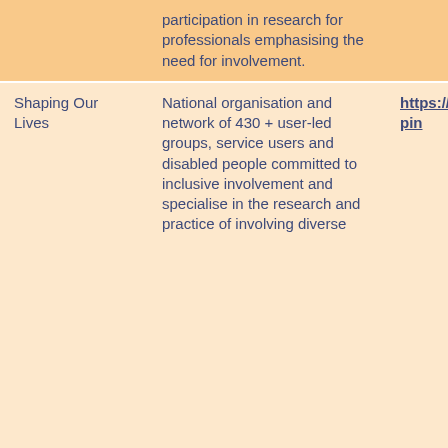|  | participation in research for professionals emphasising the need for involvement. |  |
| Shaping Our Lives | National organisation and network of 430 + user-led groups, service users and disabled people committed to inclusive involvement and specialise in the research and practice of involving diverse | https://www.shapin |